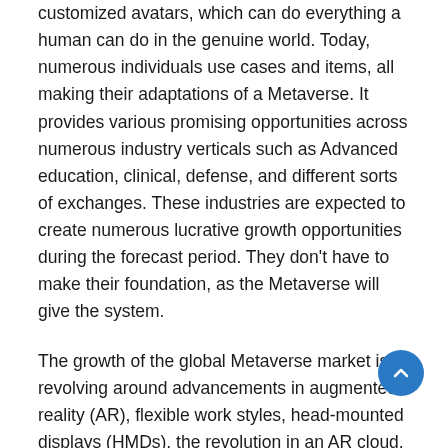customized avatars, which can do everything a human can do in the genuine world. Today, numerous individuals use cases and items, all making their adaptations of a Metaverse. It provides various promising opportunities across numerous industry verticals such as Advanced education, clinical, defense, and different sorts of exchanges. These industries are expected to create numerous lucrative growth opportunities during the forecast period. They don't have to make their foundation, as the Metaverse will give the system.
The growth of the global Metaverse market is revolving around advancements in augmented reality (AR), flexible work styles, head-mounted displays (HMDs), the revolution in an AR cloud, innovations on the Internet of Things (IoT), 5G, emerging artificial intelligence (AI) and spatial technologies in the virtual world. The growing craze of digital currency, Virtual social and entertainment events, and the emergence of Nonfungible Tokens (NFTs) will likely drive the future Metaverse market.
Metaverse is the best innovation in the augmented simulation world indeed, and it will change our view of the web and virtual